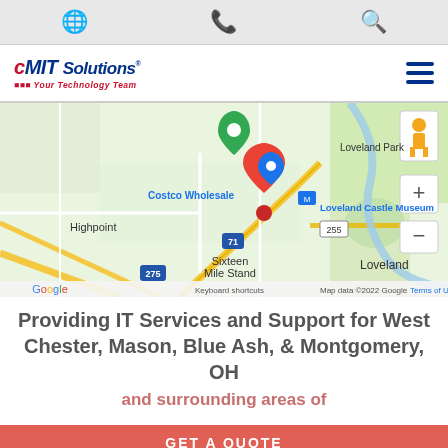CMIT Solutions website header with globe icon, phone icon, search icon, logo, and hamburger menu
[Figure (map): Google Maps screenshot showing area near Loveland, Ohio including Costco Wholesale, Loveland Castle Museum, Loveland Park, Highpoint, Sixteen Mile Stand, highways 71, 275, 255, with a red location pin marker. Map data ©2022 Google. Shows Keyboard shortcuts, Terms of Use labels.]
Providing IT Services and Support for West Chester, Mason, Blue Ash, & Montgomery, OH and surrounding areas of
GET A QUOTE